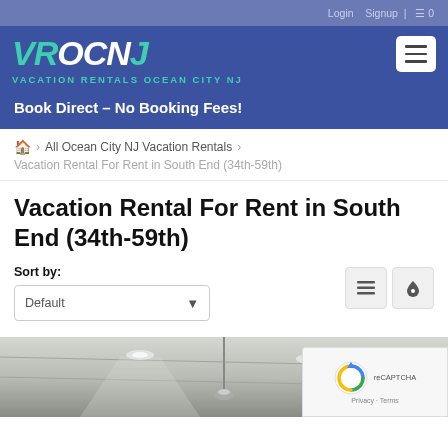Login  Signup | ≡ 0
[Figure (logo): VROCNJ Vacation Rentals Ocean City NJ logo with teal and white lettering on blue background]
Book Direct – No Booking Fees!
🏠 > All Ocean City NJ Vacation Rentals > Vacation Rental For Rent in South End (34th-59th)
Vacation Rental For Rent in South End (34th-59th)
Sort by: Default
[Figure (photo): Interior room photo showing ceiling with recessed lighting, partially visible]